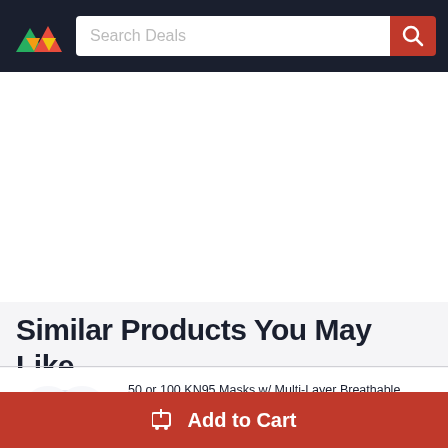Search Deals
[Figure (illustration): Advertisement / blank white space area]
Similar Products You May Like
50 or 100 KN95 Masks w/ Multi-Layer Breathable Fabric & Elastic Ear Loops
$26.99
Free Shipping
Add to Cart